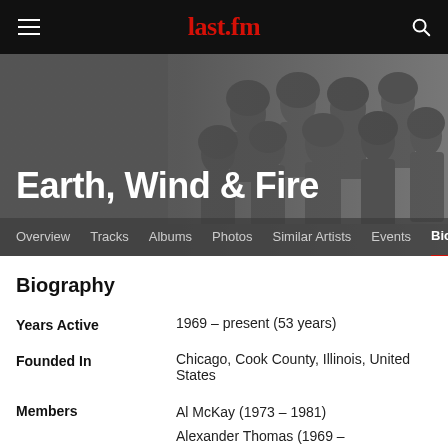last.fm
Earth, Wind & Fire
Biography
| Field | Value |
| --- | --- |
| Years Active | 1969 – present (53 years) |
| Founded In | Chicago, Cook County, Illinois, United States |
| Members | Al McKay (1973 – 1981)
Alexander Thomas (1969 – 1971)
Andrew Woolfolk (1973 – 1993)
B. David Whitworth (1996 – |